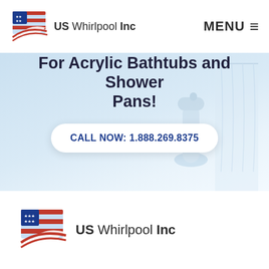[Figure (logo): US Whirlpool Inc logo with American flag motif, top navigation bar with MENU button]
For Acrylic Bathtubs and Shower Pans!
[Figure (other): Call to action button with phone number: CALL NOW: 1.888.269.8375]
[Figure (photo): Hero banner with light blue background, bathroom faucet and shower curtain imagery, wave shapes at bottom]
[Figure (logo): US Whirlpool Inc logo repeated at bottom of page]